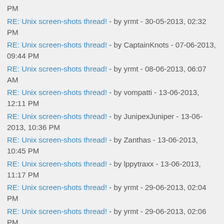PM
RE: Unix screen-shots thread! - by yrmt - 30-05-2013, 02:32 PM
RE: Unix screen-shots thread! - by CaptainKnots - 07-06-2013, 09:44 PM
RE: Unix screen-shots thread! - by yrmt - 08-06-2013, 06:07 AM
RE: Unix screen-shots thread! - by vompatti - 13-06-2013, 12:11 PM
RE: Unix screen-shots thread! - by JunipexJuniper - 13-06-2013, 10:36 PM
RE: Unix screen-shots thread! - by Zanthas - 13-06-2013, 10:45 PM
RE: Unix screen-shots thread! - by lppytraxx - 13-06-2013, 11:17 PM
RE: Unix screen-shots thread! - by yrmt - 29-06-2013, 02:04 PM
RE: Unix screen-shots thread! - by yrmt - 29-06-2013, 02:06 PM
RE: Unix screen-shots thread! - by tbuck153 - 29-06-2013, 03:19 PM